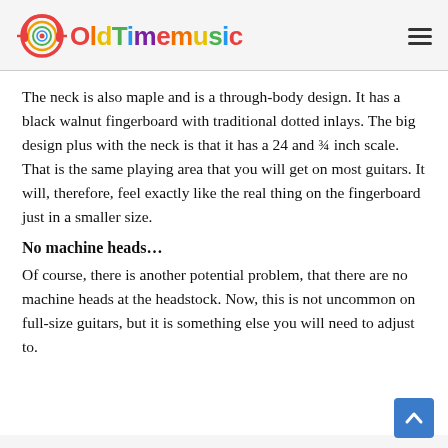OldTimemusic
The neck is also maple and is a through-body design. It has a black walnut fingerboard with traditional dotted inlays. The big design plus with the neck is that it has a 24 and ¾ inch scale. That is the same playing area that you will get on most guitars. It will, therefore, feel exactly like the real thing on the fingerboard just in a smaller size.
No machine heads…
Of course, there is another potential problem, that there are no machine heads at the headstock. Now, this is not uncommon on full-size guitars, but it is something else you will need to adjust to.